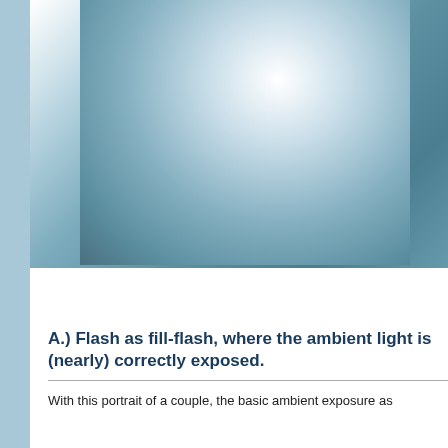[Figure (photo): A blurred/overexposed portrait photograph showing a blue-toned background with a soft vignette effect, depicting a fill-flash photography example.]
A.) Flash as fill-flash, where the ambient light is (nearly) correctly exposed.
With this portrait of a couple, the basic ambient exposure as